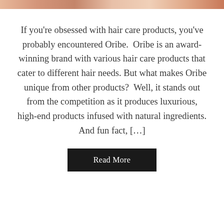[Figure (photo): Partial image strip at top of page showing a person's hair/head, cropped to a thin horizontal band]
If you're obsessed with hair care products, you've probably encountered Oribe.  Oribe is an award-winning brand with various hair care products that cater to different hair needs. But what makes Oribe unique from other products?  Well, it stands out from the competition as it produces luxurious, high-end products infused with natural ingredients. And fun fact, […]
Read More